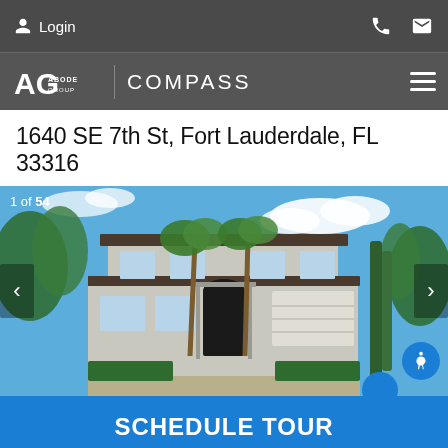Login
[Figure (logo): AG Abode Group and Compass logos in navigation bar]
1640 SE 7th St, Fort Lauderdale, FL 33316
[Figure (photo): Exterior photo of a two-story luxury home in Fort Lauderdale with palm trees, manicured hedges, circular driveway, dark entry door, and a two-car garage. Blue sky with clouds in background. Counter shows 1 of 54.]
SCHEDULE TOUR
It's free with no obligation - cancel anytime